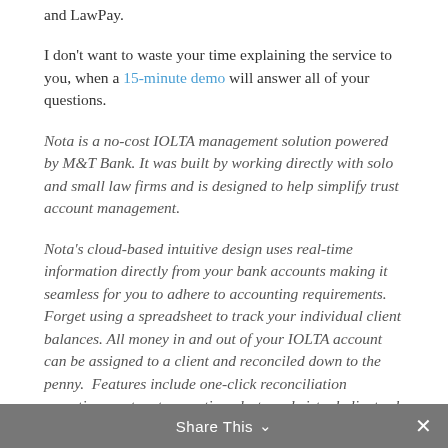and LawPay.
I don't want to waste your time explaining the service to you, when a 15-minute demo will answer all of your questions.
Nota is a no-cost IOLTA management solution powered by M&T Bank. It was built by working directly with solo and small law firms and is designed to help simplify trust account management.
Nota's cloud-based intuitive design uses real-time information directly from your bank accounts making it seamless for you to adhere to accounting requirements. Forget using a spreadsheet to track your individual client balances. All money in and out of your IOLTA account can be assigned to a client and reconciled down to the penny.  Features include one-click reconciliation reporting, custom transaction alerts and virtual client sub accounts with smart tagging. Visit
Share This